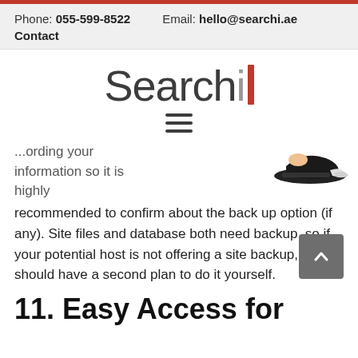Phone: 055-599-8522  Email: hello@searchi.ae  Contact
[Figure (logo): Searchi logo with dark gray text and red vertical bar accent]
...ording your information so it is highly recommended to confirm about the back up option (if any). Site files and database both need backup, so if your potential host is not offering a site backup, you should have a second plan to do it yourself.
[Figure (illustration): Partial illustration of a person at a desk, partially visible]
11. Easy Access for